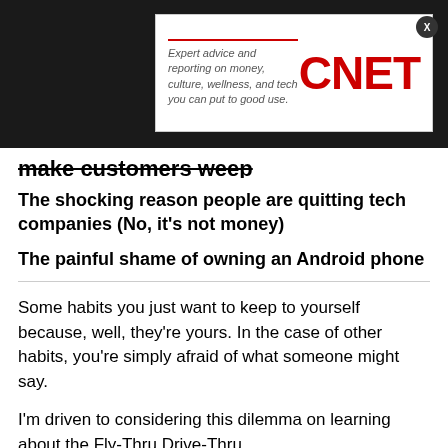[Figure (other): CNET advertisement banner with red logo and tagline: Expert advice and reporting on money, culture, wellness, and tech you can put to good use.]
make customers weep
The shocking reason people are quitting tech companies (No, it's not money)
The painful shame of owning an Android phone
Some habits you just want to keep to yourself because, well, they're yours. In the case of other habits, you're simply afraid of what someone might say.
I'm driven to considering this dilemma on learning about the Fly-Thru Drive-Thru.